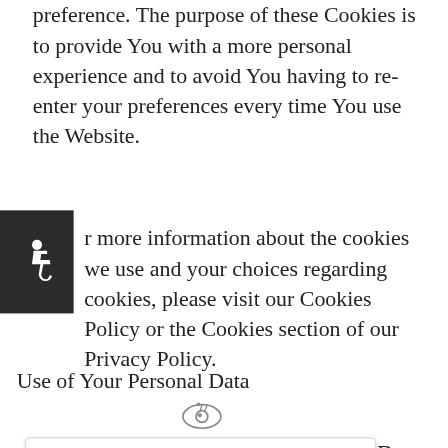preference. The purpose of these Cookies is to provide You with a more personal experience and to avoid You having to re-enter your preferences every time You use the Website.
For more information about the cookies we use and your choices regarding cookies, please visit our Cookies Policy or the Cookies section of our Privacy Policy.
Use of Your Personal Data
...nal Data for the ...Service, including to ...ice.
Hello, and thank you for visiting our website. How can we assist you?
To contact You: To contact You by email, phone calls, SMS, or other equivalent forms of electronic communication, such as a mobile application's push notifications regarding updates